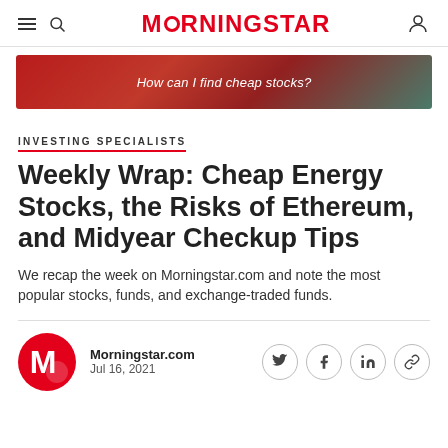MORNINGSTAR
[Figure (illustration): Red advertisement banner with text 'How can I find cheap stocks?']
INVESTING SPECIALISTS
Weekly Wrap: Cheap Energy Stocks, the Risks of Ethereum, and Midyear Checkup Tips
We recap the week on Morningstar.com and note the most popular stocks, funds, and exchange-traded funds.
Morningstar.com
Jul 16, 2021